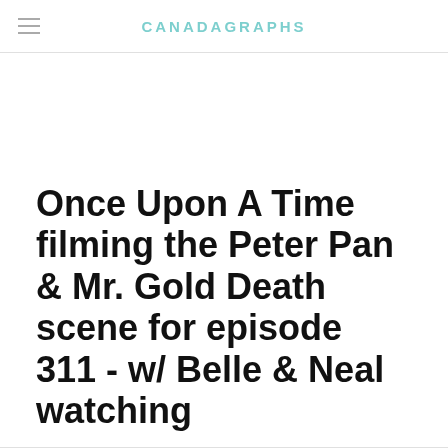CANADAGRAPHS
Once Upon A Time filming the Peter Pan & Mr. Gold Death scene for episode 311 - w/ Belle & Neal watching
12/19/2013    1 Comment